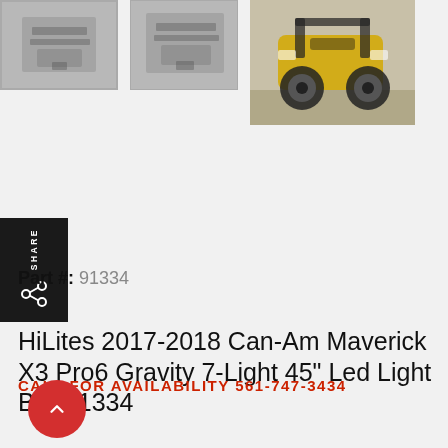[Figure (photo): Thumbnail image 1 of product - parts/accessories on white background]
[Figure (photo): Thumbnail image 2 of product - parts/accessories on white background]
[Figure (photo): Main product photo - yellow Can-Am Maverick X3 UTV on pavement]
HiLites 2017-2018 Can-Am Maverick X3 Pro6 Gravity 7-Light 45" Led Light Bar 91334
Part #: 91334
CALL FOR AVAILABILITY 561-747-3434